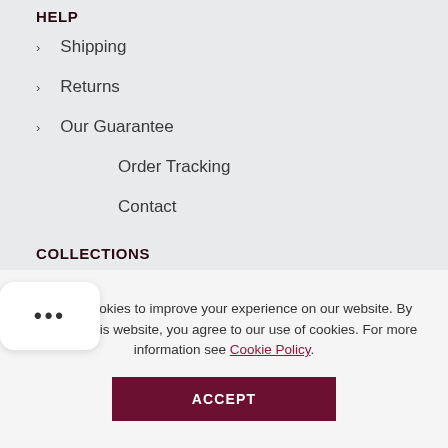HELP
Shipping
Returns
Our Guarantee
Order Tracking
Contact
COLLECTIONS
Chocolate Bars
Oat Milk Chocolate Bars
We use cookies to improve your experience on our website. By browsing this website, you agree to our use of cookies. For more information see Cookie Policy.
ACCEPT